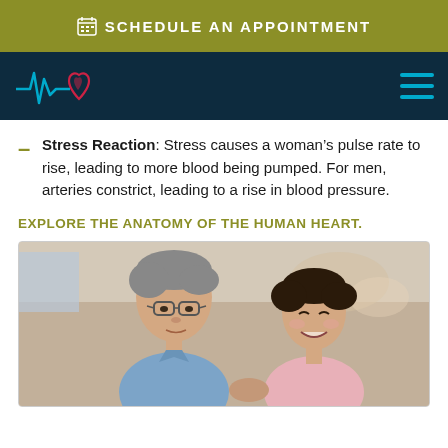SCHEDULE AN APPOINTMENT
[Figure (logo): Medical heart rate logo with blue EKG line and red heart outline on dark teal background, with cyan hamburger menu icon on right]
Stress Reaction: Stress causes a woman’s pulse rate to rise, leading to more blood being pumped. For men, arteries constrict, leading to a rise in blood pressure.
EXPLORE THE ANATOMY OF THE HUMAN HEART.
[Figure (photo): An elderly Asian couple sitting together, the man wearing glasses and a light blue shirt looking down at something, the woman in a pink top smiling warmly]